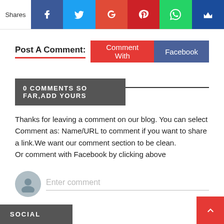[Figure (infographic): Social share bar with icons: Facebook (blue), Twitter (light blue), Google+ (red), Pinterest (dark red), WhatsApp (green), Crown/Bloglovin (dark blue), with Shares label on left]
Post A Comment:
[Figure (other): Comment With button (red) and Facebook button (dark blue)]
0 COMMENTS SO FAR,ADD YOURS
Thanks for leaving a comment on our blog. You can select Comment as: Name/URL to comment if you want to share a link.We want our comment section to be clean.
Or comment with Facebook by clicking above
[Figure (other): Enter comment input field with avatar icon]
SOCIAL